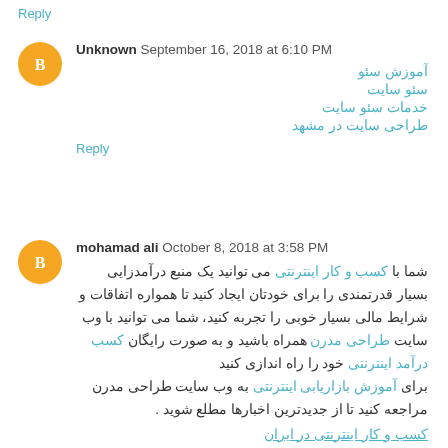Reply
Unknown  September 16, 2018 at 6:10 PM
آموزش سئو
سئو سایت
خدمات سئو سایت
طراحی سایت در مشهد
Reply
mohamad ali  October 8, 2018 at 3:58 PM
شما با کسب و کار اینترنتی می توانید یک منبع درآمدزایی بسیار قدرتمندی را برای خودتان ایجاد کنید تا همواره اتفاقات و شرایط مالی بسیار خوبی را تجربه کنید، شما می توانید با وب سایت طراحی مدرن همراه باشید و به صورت رایگان کسب درآمد اینترنتی خود را راه اندازی کنید
برای آموزش بازاریابی اینترنتی به وب سایت طراحی مدرن مراجعه کنید تا از جدیدترین اخبارها مطلع شوید .
کسب و کار اینترنتی در ایران